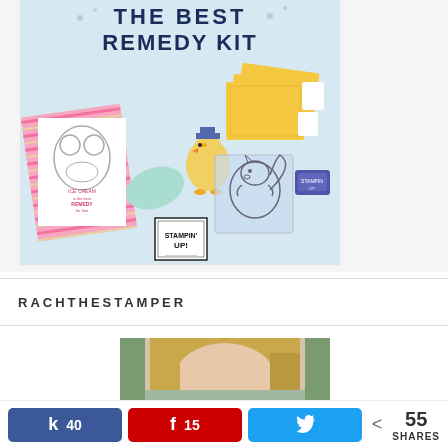[Figure (photo): Product photo of Stampin' Up! 'The Best Remedy Kit' showing craft supplies including stamps, ink pads, colorful cards, and craft materials on a light blue background. Title text reads 'THE BEST REMEDY KIT' in dark navy bold letters at the top.]
RACHTHESTAMPER
[Figure (photo): Portrait photo of a blonde woman, partially visible (cropped at bottom of page)]
40  15  55 SHARES